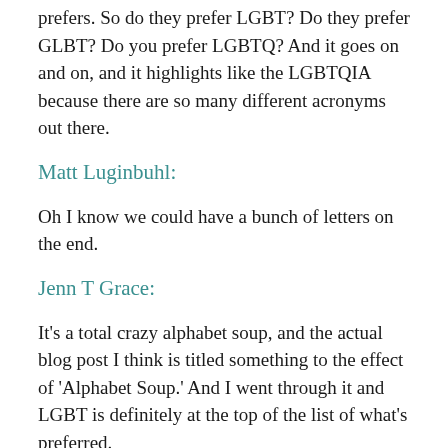prefers. So do they prefer LGBT? Do they prefer GLBT? Do you prefer LGBTQ? And it goes on and on, and it highlights like the LGBTQIA because there are so many different acronyms out there.
Matt Luginbuhl:
Oh I know we could have a bunch of letters on the end.
Jenn T Grace:
It's a total crazy alphabet soup, and the actual blog post I think is titled something to the effect of 'Alphabet Soup.' And I went through it and LGBT is definitely at the top of the list of what's preferred.